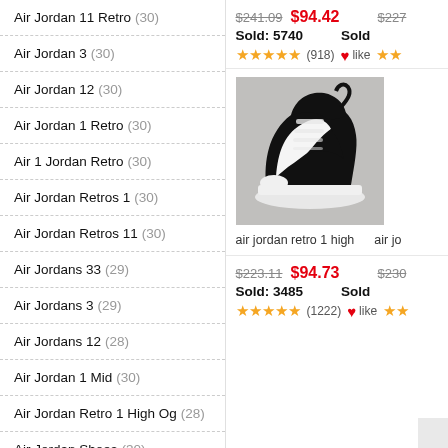Air Jordan 11 Retro (30)
Air Jordan 3 (30)
Air Jordan 12 (30)
Air Jordan 1 Retro (30)
Air 1 Jordan Retro (30)
Air Jordan Retros 1 (30)
Air Jordan Retros 11 (30)
Air Jordans 33 (29)
Air Jordans 3 (29)
Air Jordans 12 (28)
Air Jordan 1 Mid (30)
Air Jordan Retro 1 High Og (28)
Air Jordan Shoes (30)
Air Jordan 13 (29)
Air Jordan Mid 1 (29)
$241.09  $94.42   Sold: 5740   ★★★★★(918) ♥like ★★  $227...  Sold...
[Figure (photo): Black and white Air Jordan 1 Retro High sneaker on gray background]
air jordan retro 1 high    air jo...
$223.11  $94.73   Sold: 3485   ★★★★★(1222) ♥like ★★  $230...  Sold...